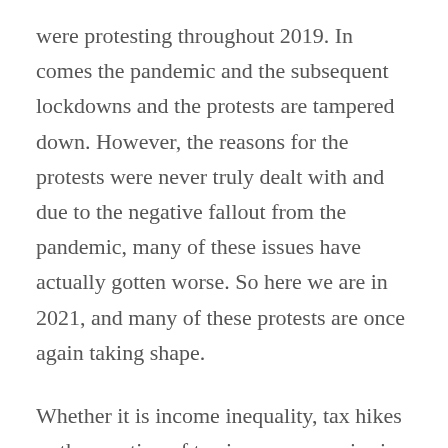were protesting throughout 2019. In comes the pandemic and the subsequent lockdowns and the protests are tampered down. However, the reasons for the protests were never truly dealt with and due to the negative fallout from the pandemic, many of these issues have actually gotten worse. So here we are in 2021, and many of these protests are once again taking shape.
Whether it is income inequality, tax hikes or the mention of tax increases, a raise in bus or metro fares, a decrease in governmental